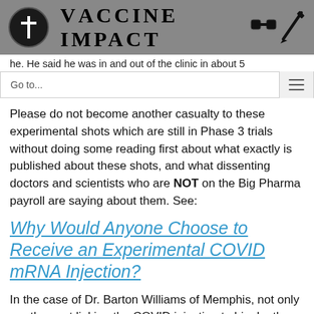VACCINE IMPACT
he. He said he was in and out of the clinic in about 5
Go to...
Please do not become another casualty to these experimental shots which are still in Phase 3 trials without doing some reading first about what exactly is published about these shots, and what dissenting doctors and scientists who are NOT on the Big Pharma payroll are saying about them. See:
Why Would Anyone Choose to Receive an Experimental COVID mRNA Injection?
In the case of Dr. Barton Williams of Memphis, not only are they not linking the COVID injection to his death, they are actually encouraging more people to get the injections to prevent what happened to Dr. Williams!